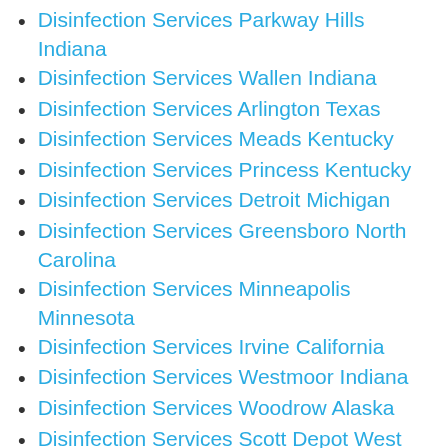Disinfection Services Parkway Hills Indiana
Disinfection Services Wallen Indiana
Disinfection Services Arlington Texas
Disinfection Services Meads Kentucky
Disinfection Services Princess Kentucky
Disinfection Services Detroit Michigan
Disinfection Services Greensboro North Carolina
Disinfection Services Minneapolis Minnesota
Disinfection Services Irvine California
Disinfection Services Westmoor Indiana
Disinfection Services Woodrow Alaska
Disinfection Services Scott Depot West Virginia
Disinfection Services Westlawn Indiana
Disinfection Services Country Club Gardens Indiana
Disinfection Services Scott Depot West